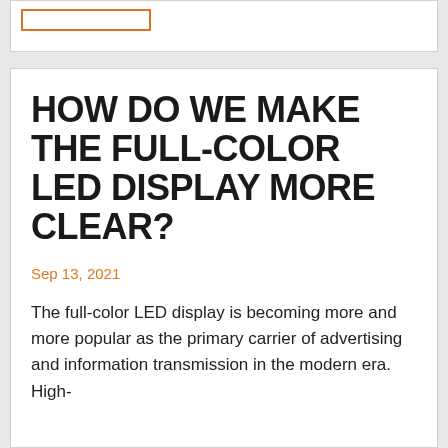HOW DO WE MAKE THE FULL-COLOR LED DISPLAY MORE CLEAR?
Sep 13, 2021
The full-color LED display is becoming more and more popular as the primary carrier of advertising and information transmission in the modern era. High-